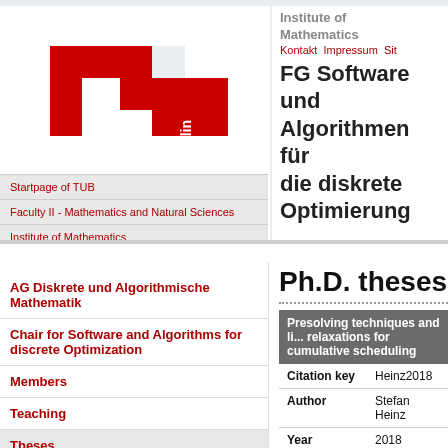[Figure (logo): TU Berlin red stylized logo mark with 'berlin' text]
Startpage of TUB
Faculty II - Mathematics and Natural Sciences
Institute of Mathematics
Institute of Mathematics
Kontakt  Impressum  Sit
FG Software und Algorithmen für die diskrete Optimierung
AG Diskrete und Algorithmische Mathematik
Chair for Software and Algorithms for discrete Optimization
Members
Teaching
Theses
Ph.D. theses
|  |  |
| --- | --- |
| Presolving techniques and li... relaxations for cumulative scheduling |  |
| Citation key | Heinz2018 |
| Author | Stefan Heinz |
| Year | 2018 |